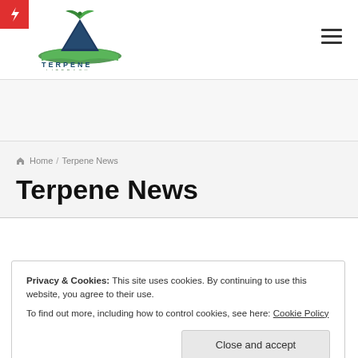Terpene Literacy — navigation header with logo and hamburger menu
[Figure (logo): Terpene Literacy logo: green plant leaves above a dark triangular flask shape, sitting on an open book, with text TERPENE LITERACY below]
Home / Terpene News
Terpene News
Privacy & Cookies: This site uses cookies. By continuing to use this website, you agree to their use.
To find out more, including how to control cookies, see here: Cookie Policy
Close and accept